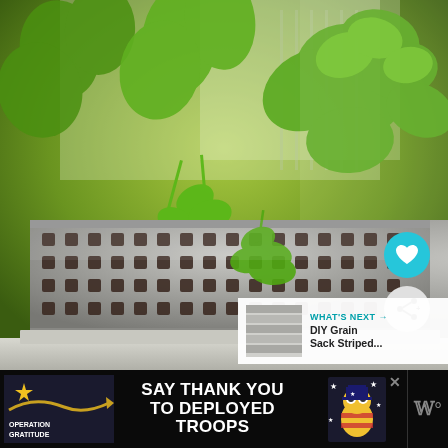[Figure (photo): Close-up photo of a metal herb planter with square perforations, containing various green herbs including mint and cilantro/parsley, sitting on a windowsill in bright daylight.]
[Figure (photo): Small thumbnail image of a gray striped fabric, labeled as 'DIY Grain Sack Striped...' in the What's Next panel.]
WHAT'S NEXT → DIY Grain Sack Striped...
[Figure (photo): Advertisement banner for Operation Gratitude: 'SAY THANK YOU TO DEPLOYED TROOPS' with Operation Gratitude logo on left and patriotic mascot character on right.]